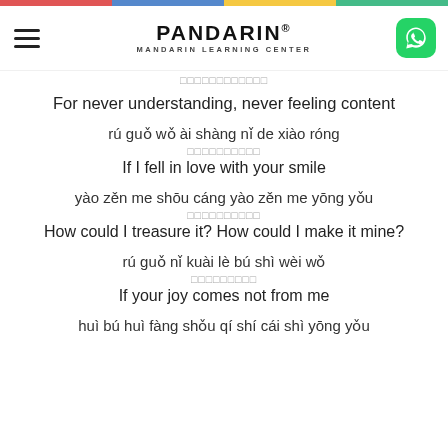PANDARIN® MANDARIN LEARNING CENTER
For never understanding, never feeling content
rú guǒ wǒ ài shàng nǐ de xiào róng
如果我爱上你的笑容
If I fell in love with your smile
yào zěn me shōu cáng yào zěn me yōng yǒu
要怎么收藏要怎么拥有
How could I treasure it? How could I make it mine?
rú guǒ nǐ kuài lè bú shì wèi wǒ
如果你快乐不是为我
If your joy comes not from me
huì bú huì fàng shǒu qí shí cái shì yōng yǒu